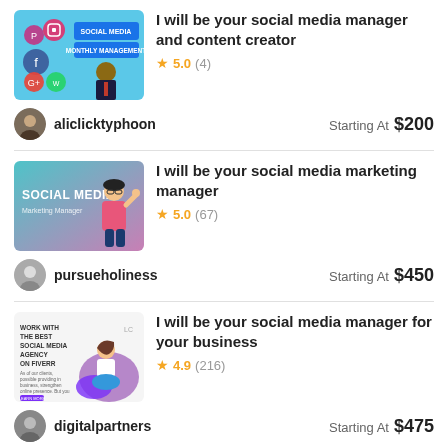[Figure (illustration): Thumbnail image for social media manager gig - shows social media icons and a man in suit with text SOCIAL MEDIA MONTHLY MANAGEMENT]
I will be your social media manager and content creator
★ 5.0 (4)
aliclicktyphoon
Starting At $200
[Figure (illustration): Thumbnail image for social media marketing manager gig - shows colorful gradient with woman character and text SOCIAL MEDIA Marketing Manager]
I will be your social media marketing manager
★ 5.0 (67)
pursueholiness
Starting At $450
[Figure (illustration): Thumbnail image for social media agency gig - shows woman sitting cross-legged with purple splashes and text WORK WITH THE BEST SOCIAL MEDIA AGENCY ON FIVERR]
I will be your social media manager for your business
★ 4.9 (216)
digitalpartners
Starting At $475